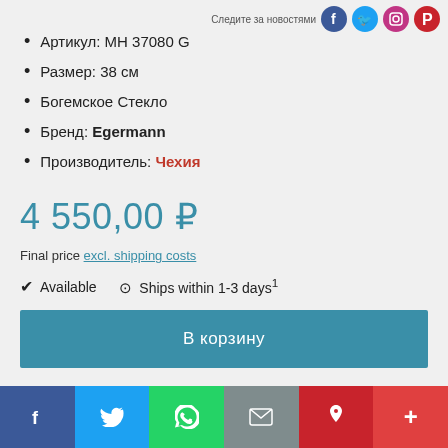Следите за новостями
Артикул: МН 37080 G
Размер: 38 см
Богемское Стекло
Бренд: Egermann
Производитель: Чехия
4 550,00 ₽
Final price excl. shipping costs
✔ Available   ⊙ Ships within 1-3 days¹
В корзину
f  Twitter  WhatsApp  Email  Pinterest  +